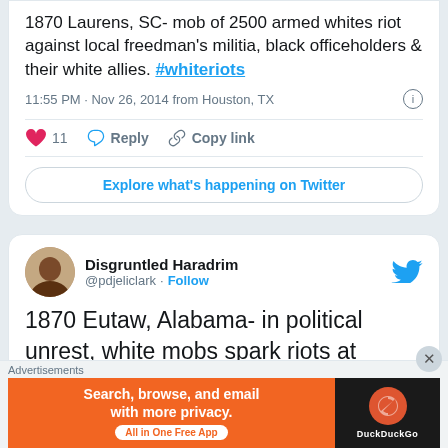1870 Laurens, SC- mob of 2500 armed whites riot against local freedman's militia, black officeholders & their white allies. #whiteriots
11:55 PM · Nov 26, 2014 from Houston, TX
❤ 11  Reply  Copy link
Explore what's happening on Twitter
Disgruntled Haradrim @pdjeliclark · Follow
1870 Eutaw, Alabama- in political unrest, white mobs spark riots at
Advertisements
[Figure (screenshot): DuckDuckGo advertisement banner: orange left panel with text 'Search, browse, and email with more privacy. All in One Free App' and dark right panel with DuckDuckGo logo]